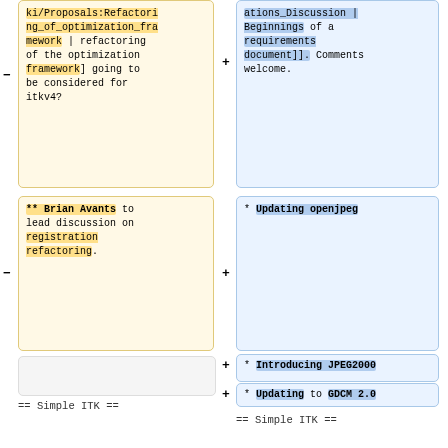ki/Proposals:Refactoring_of_optimization_framework | refactoring of the optimization framework] going to be considered for itkv4?
ations_Discussion | Beginnings of a requirements document]]. Comments welcome.
** Brian Avants to lead discussion on registration refactoring.
* Updating openjpeg
* Introducing JPEG2000
* Updating to GDCM 2.0
* Release Saturday 14th ?
== Simple ITK ==
== Simple ITK ==